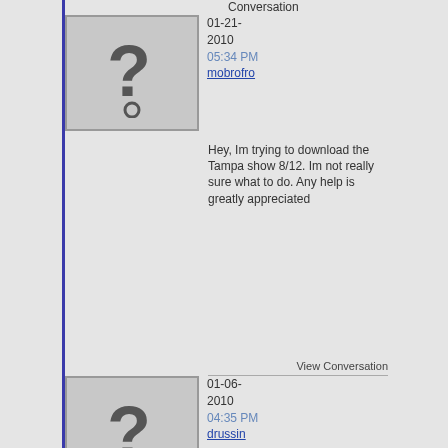Conversation
[Figure (illustration): Default avatar placeholder with a question mark icon]
01-21-2010 05:34 PM mobrofro
Hey, Im trying to download the Tampa show 8/12. Im not really sure what to do. Any help is greatly appreciated
View Conversation
[Figure (illustration): Default avatar placeholder with a question mark icon]
01-06-2010 04:35 PM drussin
brand new to antsmarch and still learning